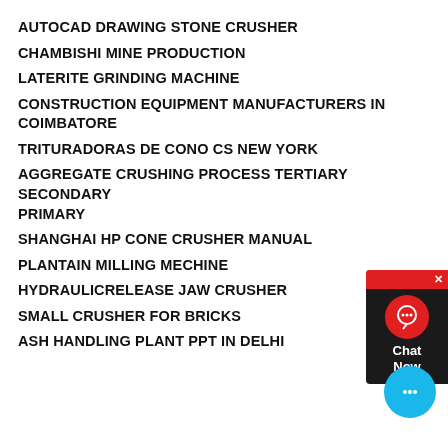AUTOCAD DRAWING STONE CRUSHER
CHAMBISHI MINE PRODUCTION
LATERITE GRINDING MACHINE
CONSTRUCTION EQUIPMENT MANUFACTURERS IN COIMBATORE
TRITURADORAS DE CONO CS NEW YORK
AGGREGATE CRUSHING PROCESS TERTIARY SECONDARY PRIMARY
SHANGHAI HP CONE CRUSHER MANUAL
PLANTAIN MILLING MECHINE
HYDRAULICRELEASE JAW CRUSHER
SMALL CRUSHER FOR BRICKS
ASH HANDLING PLANT PPT IN DELHI
[Figure (other): Chat Now widget overlay on right side with red header and dark body, and a blue chat bubble at bottom right]